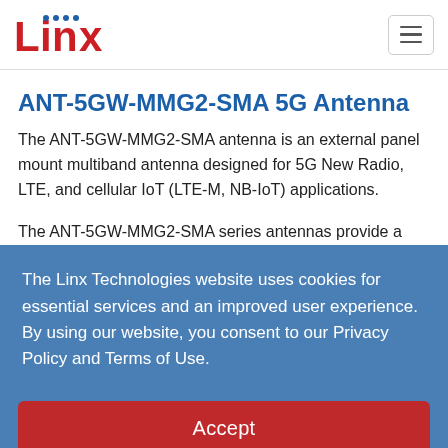Linx [logo] | [hamburger menu]
ANT-5GW-MMG2-SMA 5G Antenna
The ANT-5GW-MMG2-SMA antenna is an external panel mount multiband antenna designed for 5G New Radio, LTE, and cellular IoT (LTE-M, NB-IoT) applications.
The ANT-5GW-MMG2-SMA series antennas provide a
The Linx Technologies website uses cookies for essential services and an improved user experience. By using our website, you consent to our Privacy Policy and Terms of Use.
Accept